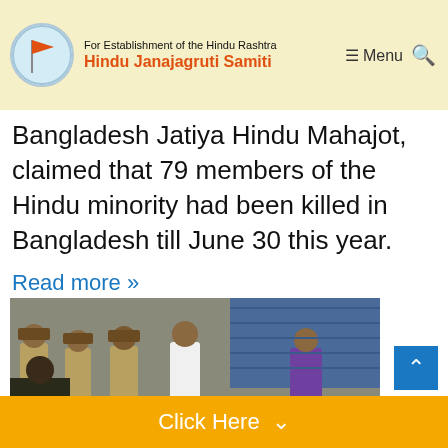For Establishment of the Hindu Rashtra | Hindu Janajagruti Samiti | Menu
Bangladesh Jatiya Hindu Mahajot, claimed that 79 members of the Hindu minority had been killed in Bangladesh till June 30 this year.
Read more »
[Figure (photo): Photograph showing a group of police officers in khaki uniforms and civilians including a man in a white shirt and a man in a purple shirt, standing on a street with shuttered shops in the background.]
Click Here